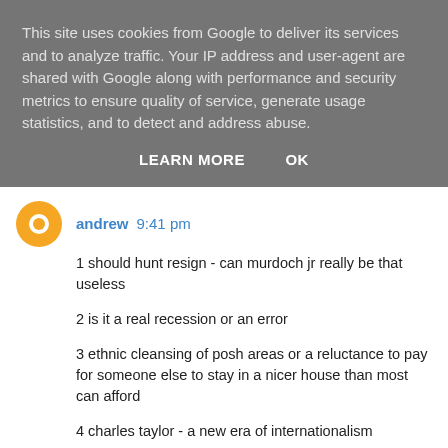This site uses cookies from Google to deliver its services and to analyze traffic. Your IP address and user-agent are shared with Google along with performance and security metrics to ensure quality of service, generate usage statistics, and to detect and address abuse.
LEARN MORE   OK
andrew 9:41 pm
1 should hunt resign - can murdoch jr really be that useless
2 is it a real recession or an error
3 ethnic cleansing of posh areas or a reluctance to pay for someone else to stay in a nicer house than most can afford
4 charles taylor - a new era of internationalism
5 something to do with unemployment cars and industry
Reply